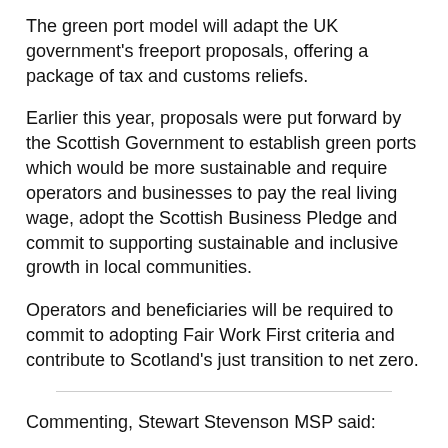The green port model will adapt the UK government's freeport proposals, offering a package of tax and customs reliefs.
Earlier this year, proposals were put forward by the Scottish Government to establish green ports which would be more sustainable and require operators and businesses to pay the real living wage, adopt the Scottish Business Pledge and commit to supporting sustainable and inclusive growth in local communities.
Operators and beneficiaries will be required to commit to adopting Fair Work First criteria and contribute to Scotland's just transition to net zero.
Commenting, Stewart Stevenson MSP said:
“I welcome the Scottish Government’s call to the UK Government regarding green ports having access to the same level of seed funding which is being offered to freeports in England.